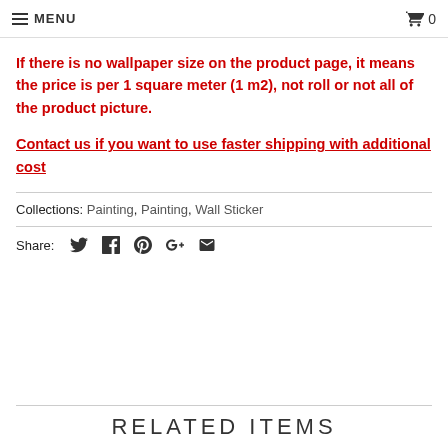MENU | Cart 0
If there is no wallpaper size on the product page, it means the price is per 1 square meter (1 m2), not roll or not all of the product picture.
Contact us if you want to use faster shipping with additional cost
Collections: Painting, Painting, Wall Sticker
Share:
RELATED ITEMS